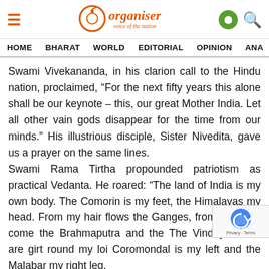Organiser — voice of the nation
HOME   BHARAT   WORLD   EDITORIAL   OPINION   ANA
Swami Vivekananda, in his clarion call to the Hindu nation, proclaimed, “For the next fifty years this alone shall be our keynote – this, our great Mother India. Let all other vain gods disappear for the time from our minds.” His illustrious disciple, Sister Nivedita, gave us a prayer on the same lines. Swami Rama Tirtha propounded patriotism as practical Vedanta. He roared: “The land of India is my own body. The Comorin is my feet, the Himalayas my head. From my hair flows the Ganges, from my head come the Brahmaputra and the… The Vindhyachalas are girt round my loi… Coromondal is my left and the Malabar my right leg.